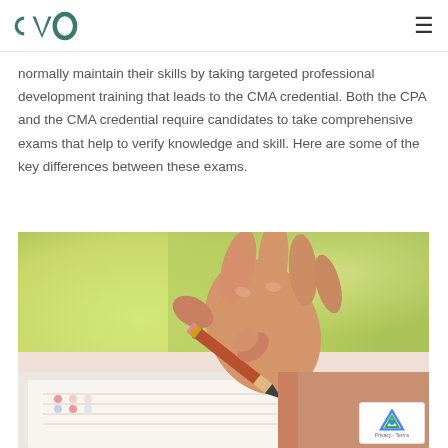CVO logo and navigation menu
normally maintain their skills by taking targeted professional development training that leads to the CMA credential. Both the CPA and the CMA credential require candidates to take comprehensive exams that help to verify knowledge and skill. Here are some of the key differences between these exams.
[Figure (photo): Close-up photo of a hand holding a pencil and writing on a paper exam sheet, with a blurred green background]